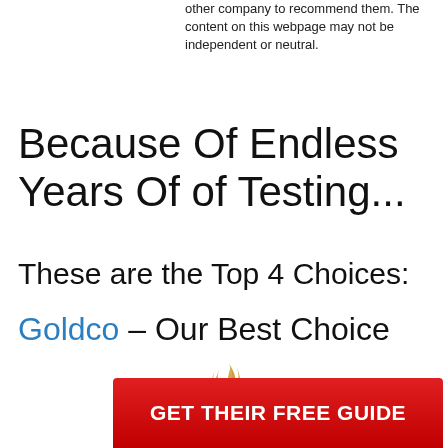other company to recommend them. The content on this webpage may not be independent or neutral.
Because Of Endless Years Of of Testing...
These are the Top 4 Choices:
Goldco – Our Best Choice
[Figure (logo): Goldco logo with gold flame/swirl icon above the word GOLDCO in serif font with registered trademark symbol]
GET THEIR FREE GUIDE